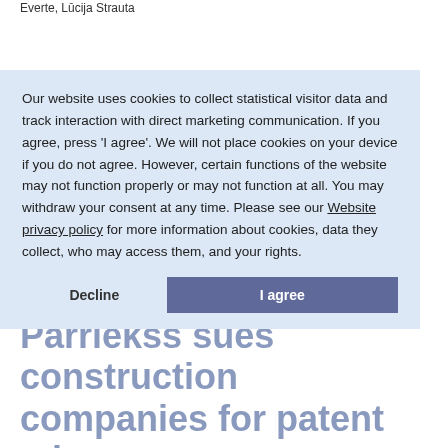Everte, Lūcija Strauta
INDEXO implements share option plan for management and the employees
Deals & Cases / 18 July 2022 / Eva Berlaus, Jānis Taukačs, Renāte Purvinska, Aija Lasmane, Žanda Prisorinde, Irina Oksenjuka
Pārriekss sues construction companies for patent misuse
Our website uses cookies to collect statistical visitor data and track interaction with direct marketing communication. If you agree, press 'I agree'. We will not place cookies on your device if you do not agree. However, certain functions of the website may not function properly or may not function at all. You may withdraw your consent at any time. Please see our Website privacy policy for more information about cookies, data they collect, who may access them, and your rights.